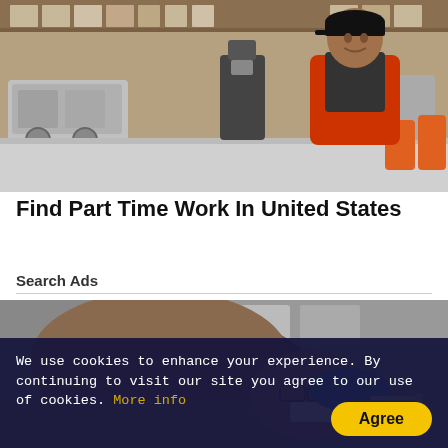[Figure (photo): A young man wearing a red apron and black baseball cap standing behind a coffee shop counter with espresso machines and equipment visible.]
Find Part Time Work In United States
Search Ads
[Figure (photo): A close-up of a bald person receiving a dental or medical procedure, with a gloved hand working near their mouth.]
We use cookies to enhance your experience. By continuing to visit our site you agree to our use of cookies. More info